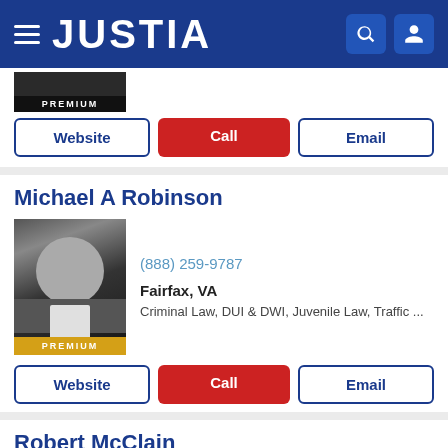JUSTIA
[Figure (screenshot): Partial attorney photo with PREMIUM badge in black]
Website | Call | Email (buttons)
Michael A Robinson
[Figure (photo): Black and white professional headshot of Michael A Robinson in suit, with gold PREMIUM badge]
(888) 259-9787
Fairfax, VA
Criminal Law, DUI & DWI, Juvenile Law, Traffic ...
Website | Call | Email (buttons)
Robert McClain
[Figure (photo): Color professional headshot of Robert McClain in suit outdoors]
(703) 934-0101
Fairfax, VA